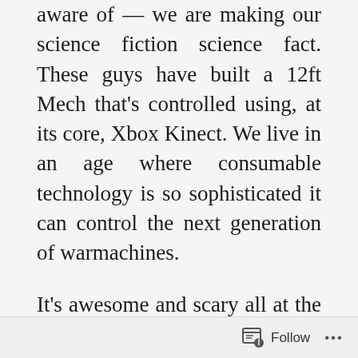aware of — we are making our science fiction science fact. These guys have built a 12ft Mech that's controlled using, at its core, Xbox Kinect. We live in an age where consumable technology is so sophisticated it can control the next generation of warmachines.
It's awesome and scary all at the same time. It started with the iPad (other tablets are available). We looked at the data pads in Star Trek and said 'I want one.' We have them 300 years before Star Trek is set. Actually, ours are better. Civilians are building Mechs, so God only knows what military R&D is up to, other than rail gun technology which is quite possibly the best worst kept weapons tech
Follow ...